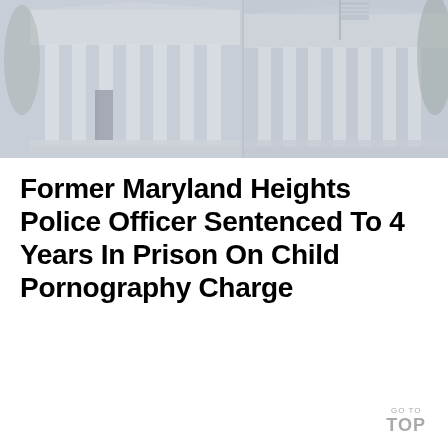[Figure (photo): Photograph of a government courthouse building exterior showing classical columns and an American flag, slightly faded/washed out appearance]
Former Maryland Heights Police Officer Sentenced To 4 Years In Prison On Child Pornography Charge